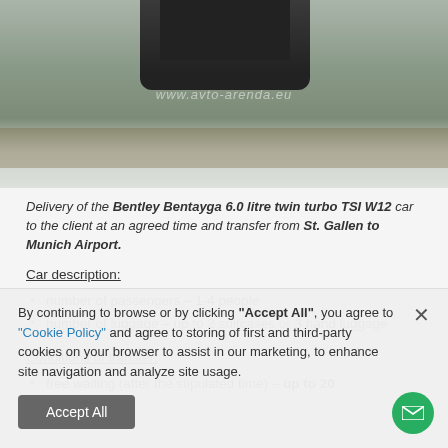[Figure (photo): Photo of a car (likely a Bentley Bentayga) driving through snow with watermark www.avto-arenda.eu]
Delivery of the Bentley Bentayga 6.0 litre twin turbo TSI W12 car to the client at an agreed time and transfer from St. Gallen to Munich Airport.
Car description:
number of passengers – 1-4 people
number of luggage – up to 2 suitcases or 3 hand luggage
Conditions of transfer:
free waiting (after the stipulated time) – up to 20
By continuing to browse or by clicking "Accept All", you agree to "Cookie Policy" and agree to storing of first and third-party cookies on your browser to assist in our marketing, to enhance site navigation and analyze site usage.